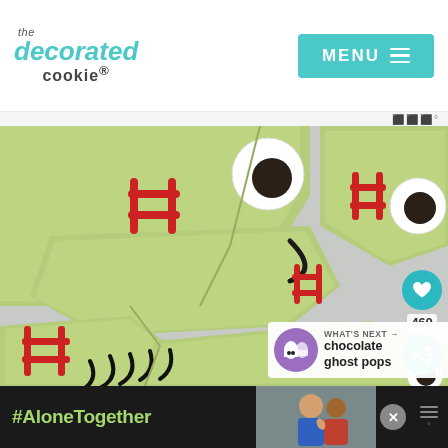the decorated cookie — MENU
[Figure (photo): Close-up photo of green Frankenstein-themed decorated cookies with red stitching marks, googly eyes made of white and dark chocolate, and black frosting details. Cookies are broken/cracked revealing the monster design. A teal heart button (460) and share button are overlaid on the right side.]
WHAT'S NEXT → chocolate ghost pops
#AloneTogether